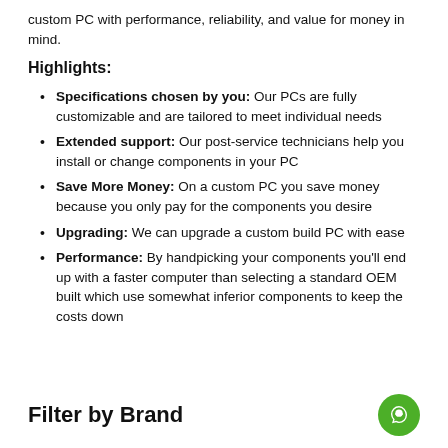custom PC with performance, reliability, and value for money in mind.
Highlights:
Specifications chosen by you: Our PCs are fully customizable and are tailored to meet individual needs
Extended support: Our post-service technicians help you install or change components in your PC
Save More Money: On a custom PC you save money because you only pay for the components you desire
Upgrading: We can upgrade a custom build PC with ease
Performance: By handpicking your components you'll end up with a faster computer than selecting a standard OEM built which use somewhat inferior components to keep the costs down
Filter by Brand